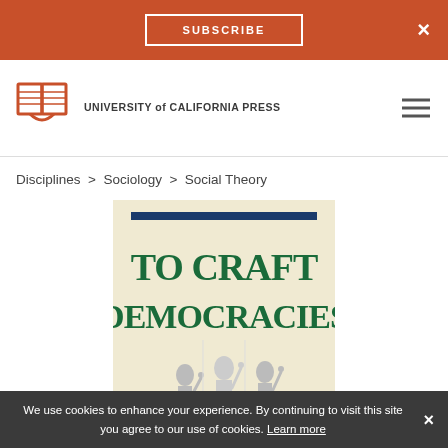SUBSCRIBE ×
[Figure (logo): University of California Press logo — open book icon with text UNIVERSITY of CALIFORNIA PRESS]
Disciplines > Sociology > Social Theory
[Figure (photo): Book cover of 'To Craft Democracies' showing three Statue of Liberty figures on a cream background with green bold text]
We use cookies to enhance your experience. By continuing to visit this site you agree to our use of cookies. Learn more